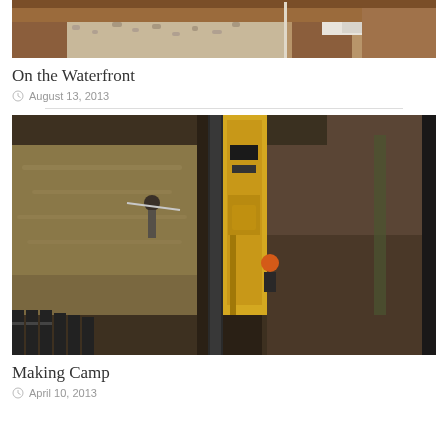[Figure (photo): Construction site photo showing gravel path and earthwork, partially cropped at top]
On the Waterfront
August 13, 2013
[Figure (photo): Aerial/angled view of pipeline installation with yellow excavator machinery in a trench, two workers visible, one wearing an orange hard hat]
Making Camp
April 10, 2013